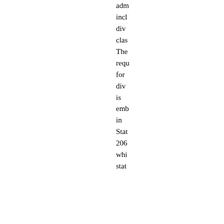adm
incl
div
clas
The
requ
for
div
is
emb
in
Stat
206
whi
stat